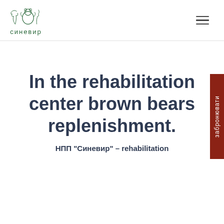СИНЕВИР
In the rehabilitation center brown bears replenishment.
НПП "Синевир" – rehabilitation